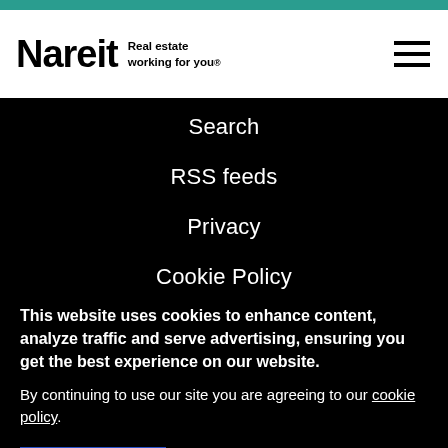[Figure (logo): Nareit logo with text 'Real estate working for you.']
Search
RSS feeds
Privacy
Cookie Policy
This website uses cookies to enhance content, analyze traffic and serve advertising, ensuring you get the best experience on our website.
By continuing to use our site you are agreeing to our cookie policy.